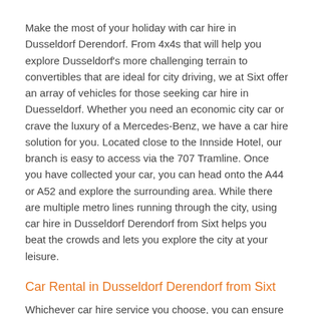Make the most of your holiday with car hire in Dusseldorf Derendorf. From 4x4s that will help you explore Dusseldorf's more challenging terrain to convertibles that are ideal for city driving, we at Sixt offer an array of vehicles for those seeking car hire in Duesseldorf. Whether you need an economic city car or crave the luxury of a Mercedes-Benz, we have a car hire solution for you. Located close to the Innside Hotel, our branch is easy to access via the 707 Tramline. Once you have collected your car, you can head onto the A44 or A52 and explore the surrounding area. While there are multiple metro lines running through the city, using car hire in Dusseldorf Derendorf from Sixt helps you beat the crowds and lets you explore the city at your leisure.
Car Rental in Dusseldorf Derendorf from Sixt
Whichever car hire service you choose, you can ensure it meets